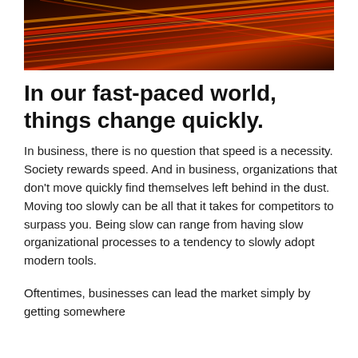[Figure (photo): Abstract motion blur photo with red, orange, and yellow streaks of light on a dark background, suggesting high speed.]
In our fast-paced world, things change quickly.
In business, there is no question that speed is a necessity. Society rewards speed. And in business, organizations that don't move quickly find themselves left behind in the dust. Moving too slowly can be all that it takes for competitors to surpass you. Being slow can range from having slow organizational processes to a tendency to slowly adopt modern tools.
Oftentimes, businesses can lead the market simply by getting somewhere first, fast...